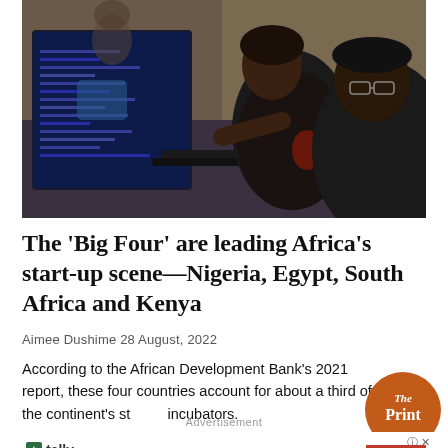[Figure (photo): Two people working at a computer desk in an office — a woman pointing at a monitor screen showing code, and a man with glasses looking thoughtfully at the screen.]
The 'Big Four' are leading Africa's start-up scene—Nigeria, Egypt, South Africa and Kenya
Aimee Dushime 28 August, 2022
According to the African Development Bank's 2021 report, these four countries account for about a third of the continent's start-up incubators.
[Figure (logo): The Print circular logo — orange/brown circle with white text 'The Print']
Advertisement
[Figure (other): Tally advertisement — 'Fast credit card payoff' with Download Now button]